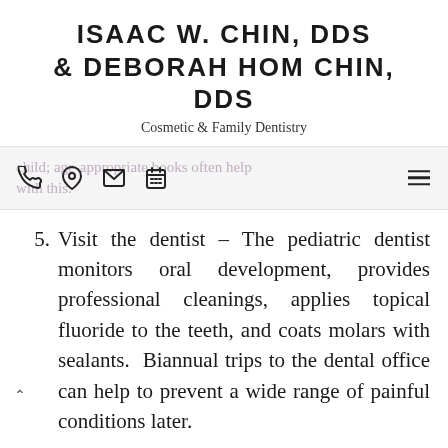ISAAC W. CHIN, DDS & DEBORAH HOM CHIN, DDS
Cosmetic & Family Dentistry
[Figure (other): Navigation bar with phone, location, email, and calendar icons on the left, and a hamburger menu on the right. Background watermark text reads: child; age-appropriate books often help with this.]
5. Visit the dentist – The pediatric dentist monitors oral development, provides professional cleanings, applies topical fluoride to the teeth, and coats molars with sealants. Biannual trips to the dental office can help to prevent a wide range of painful conditions later.
If you have questions or concerns about the